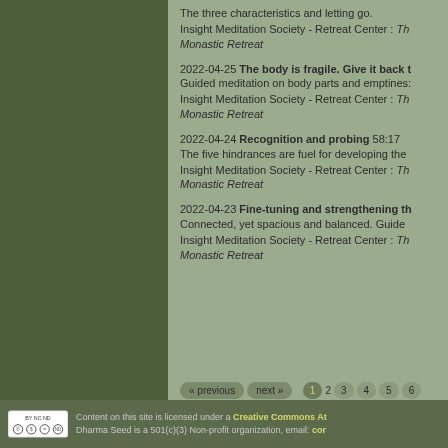The three characteristics and letting go.
Insight Meditation Society - Retreat Center : Th Monastic Retreat
2022-04-25 The body is fragile. Give it back t
Guided meditation on body parts and emptiness
Insight Meditation Society - Retreat Center : Th Monastic Retreat
2022-04-24 Recognition and probing 58:17
The five hindrances are fuel for developing the
Insight Meditation Society - Retreat Center : Th Monastic Retreat
2022-04-23 Fine-tuning and strengthening th
Connected, yet spacious and balanced. Guide
Insight Meditation Society - Retreat Center : Th Monastic Retreat
« previous  next »  1  2  3  4  5  6
Content on this site is licensed under a Creative Commons At
Dharma Seed is a 501(c)(3) Non-profit organization, email: cor